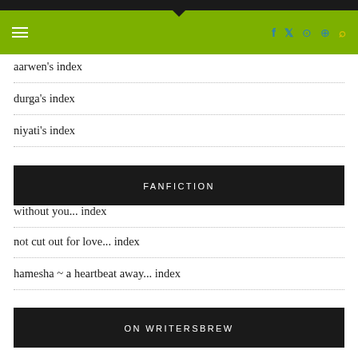Navigation bar with hamburger menu and social icons (facebook, twitter, instagram, pinterest, search) on green background
aarwen's index
durga's index
niyati's index
FANFICTION
without you... index
not cut out for love... index
hamesha ~ a heartbeat away... index
ON WRITERSBREW